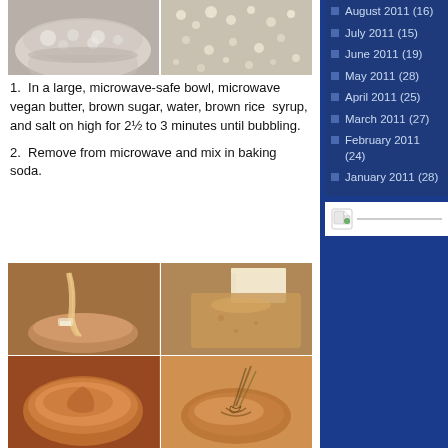[Figure (photo): Two food photos side by side: left shows a white bowl with popcorn mixture, right shows a close-up of popcorn/grain texture]
1.  In a large, microwave-safe bowl, microwave vegan butter, brown sugar, water, brown rice  syrup, and salt on high for 2½ to 3 minutes until bubbling.
2.  Remove from microwave and mix in baking soda.
[Figure (photo): Four photos in a 2x2 grid showing caramel sauce preparation steps: pouring syrup, butter block with sugar coating, caramel in bowl, and whisking caramel mixture]
August 2011 (16)
July 2011 (15)
June 2011 (19)
May 2011 (28)
April 2011 (25)
March 2011 (27)
February 2011 (24)
January 2011 (28)
[Figure (illustration): Small document/page icon with a green leaf symbol]